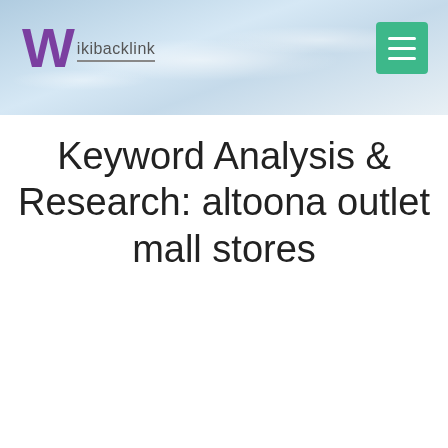Wikibacklink
Keyword Analysis & Research: altoona outlet mall stores